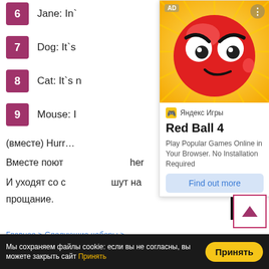6  Jane: In`
7  Dog: It`s
8  Cat: It`s n
9  Mouse: I
(вместе) Hurr…
Вместе поют … her
И уходят со с… шут на прощание.
[Figure (screenshot): Advertisement overlay for 'Red Ball 4' game on Яндекс Игры (Yandex Games). Shows a red ball cartoon character on yellow background, with title 'Red Ball 4', description 'Play Popular Games Online in Your Browser. No Installation Required', and a 'Find out more' button. Labeled 'AD' in the corner.]
Главное > Следующие наборы >
Мы сохраняем файлы cookie: если вы не согласны, вы можете закрыть сайт Принять